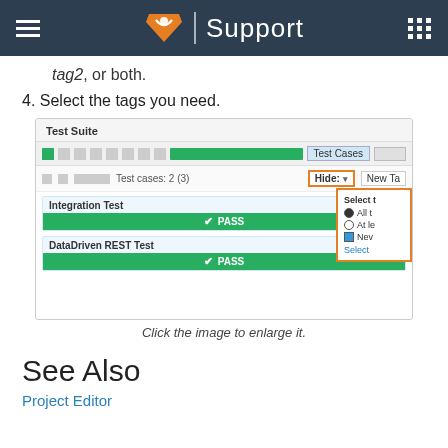Support
tag2, or both.
4. Select the tags you need.
[Figure (screenshot): Screenshot of Test Suite interface showing Integration Test and DataDriven REST Test both with PASS status, and a Hide dropdown menu with tag selection options]
Click the image to enlarge it.
See Also
Project Editor